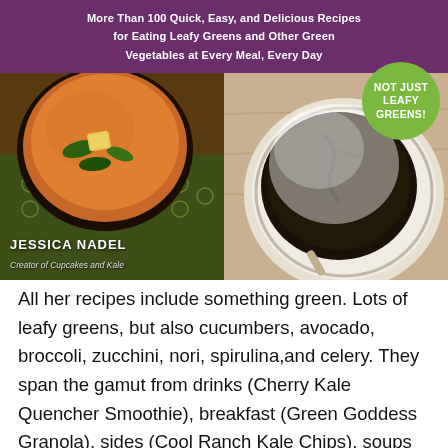[Figure (photo): Book cover showing two food photos side by side: left is a curry/soup dish with leafy greens in a dark bowl on a green cloth, right is a dark chocolate cake dusted with powdered sugar on a plate. Purple banner at top with subtitle text. Green circular badge top-right reading 'NOT JUST LEAFY GREENS!'. Author name 'JESSICA NADEL, Creator of Cupcakes and Kale' overlaid on left photo.]
All her recipes include something green. Lots of leafy greens, but also cucumbers, avocado, broccoli, zucchini, nori, spirulina,and celery. They span the gamut from drinks (Cherry Kale Quencher Smoothie), breakfast (Green Goddess Granola), sides (Cool Ranch Kale Chips), soups